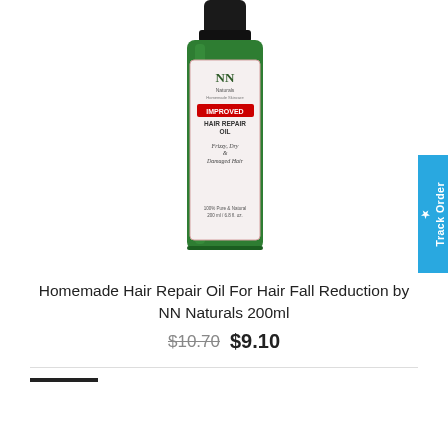[Figure (photo): Green bottle of NN Naturals Homemade Hair Repair Oil, 200ml, with label showing 'IMPROVED HAIR REPAIR OIL' for Frizzy, Dry & Damaged Hair, 100% Pure & Natural. Black cap on top.]
Homemade Hair Repair Oil For Hair Fall Reduction by NN Naturals 200ml
$10.70  $9.10